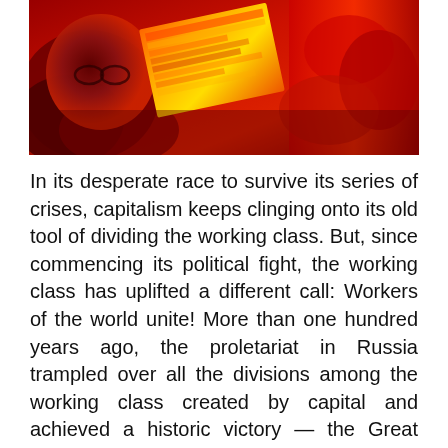[Figure (photo): A painting with deep red tones showing a figure with glasses surrounded by red roses/fabric, with a colorful newspaper or book in the upper center area. The image is dominated by reds, oranges, and yellows.]
In its desperate race to survive its series of crises, capitalism keeps clinging onto its old tool of dividing the working class. But, since commencing its political fight, the working class has uplifted a different call: Workers of the world unite! More than one hundred years ago, the proletariat in Russia trampled over all the divisions among the working class created by capital and achieved a historic victory — the Great October Revolution. But, today, more than a century after the October Revolution, the working class remains divided. In this context, Michael D. Yates, author of Can the Working